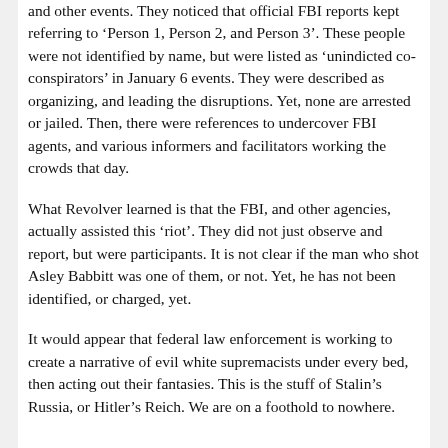and other events. They noticed that official FBI reports kept referring to 'Person 1, Person 2, and Person 3'. These people were not identified by name, but were listed as 'unindicted co-conspirators' in January 6 events. They were described as organizing, and leading the disruptions. Yet, none are arrested or jailed. Then, there were references to undercover FBI agents, and various informers and facilitators working the crowds that day.
What Revolver learned is that the FBI, and other agencies, actually assisted this 'riot'. They did not just observe and report, but were participants. It is not clear if the man who shot Asley Babbitt was one of them, or not. Yet, he has not been identified, or charged, yet.
It would appear that federal law enforcement is working to create a narrative of evil white supremacists under every bed, then acting out their fantasies. This is the stuff of Stalin’s Russia, or Hitler’s Reich. We are on a foothold to nowhere.